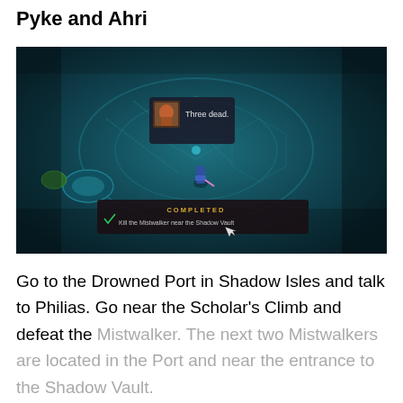Pyke and Ahri
[Figure (screenshot): League of Legends game screenshot showing a character near the Shadow Vault area. A tooltip shows 'Three dead.' and a completed objective banner reads 'COMPLETED - Kill the Mistwalker near the Shadow Vault'. The scene is rendered in blue-green tones with a dungeon-like map.]
Go to the Drowned Port in Shadow Isles and talk to Philias. Go near the Scholar's Climb and defeat the Mistwalker. The next two Mistwalkers are located in the Port and near the entrance to the Shadow Vault.